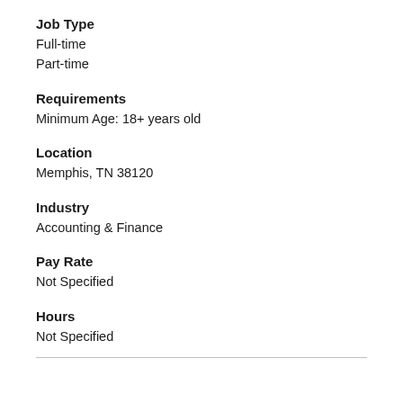Job Type
Full-time
Part-time
Requirements
Minimum Age: 18+ years old
Location
Memphis, TN 38120
Industry
Accounting & Finance
Pay Rate
Not Specified
Hours
Not Specified